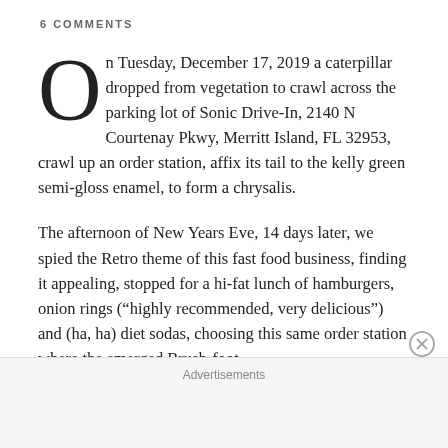6 COMMENTS
On Tuesday, December 17, 2019 a caterpillar dropped from vegetation to crawl across the parking lot of Sonic Drive-In, 2140 N Courtenay Pkwy, Merritt Island, FL 32953, crawl up an order station, affix its tail to the kelly green semi-gloss enamel, to form a chrysalis.
The afternoon of New Years Eve, 14 days later, we spied the Retro theme of this fast food business, finding it appealing, stopped for a hi-fat lunch of hamburgers, onion rings (“highly recommended, very delicious”) and (ha, ha) diet sodas, choosing this same order station where the emerged Brush-foot
Advertisements